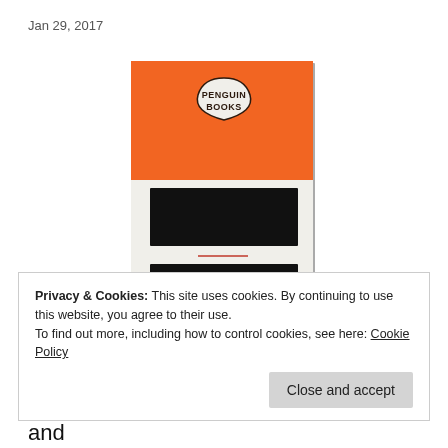Jan 29, 2017
[Figure (photo): A Penguin Books orange paperback book cover with the classic Penguin Books logo at the top center. The middle section shows two black redacted/censored rectangular bars on a white band, with a small red underline between them. The bottom portion is orange with a small Penguin logo.]
Privacy & Cookies: This site uses cookies. By continuing to use this website, you agree to their use.
To find out more, including how to control cookies, see here: Cookie Policy
the way America interacts with the world, and